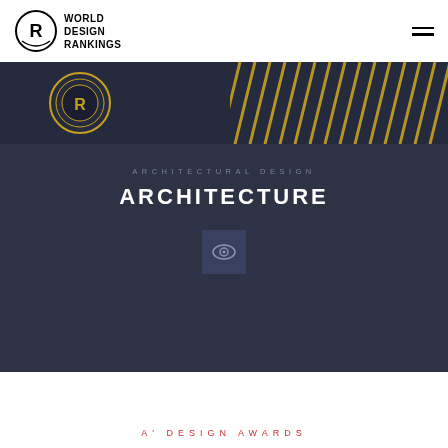[Figure (logo): World Design Rankings logo — circular R emblem with WORLD DESIGN RANKINGS text]
[Figure (illustration): Hamburger menu icon (three horizontal lines)]
[Figure (illustration): Dark hero banner with gold decorative badge on left and diagonal gold stripe lines on right side]
ARCHITECTURAL DESIGN
ARCHITECTURE
[Figure (illustration): Dark square button with eye/visibility icon]
A' DESIGN AWARDS